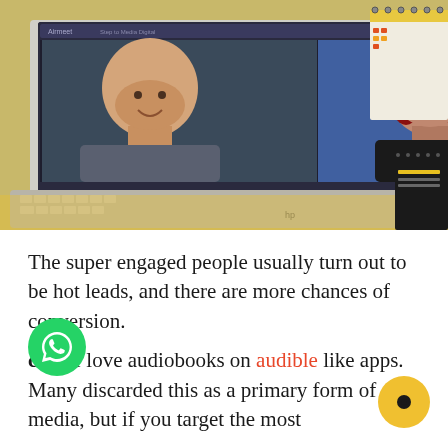[Figure (photo): A laptop displaying an Airmeet video call with two participants — a bald man and a woman with red hair — alongside an attendees panel. Behind the laptop is a yellow desk with spiral-bound notebooks and calendars.]
The super engaged people usually turn out to be hot leads, and there are more chances of conversion.
cast: I love audiobooks on audible like apps. Many discarded this as a primary form of media, but if you target the most